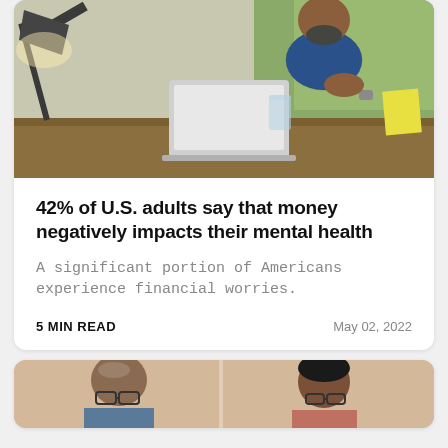[Figure (photo): Man with shaved head and beard sitting at a desk with a laptop and lamp, appearing thoughtful, in a checkered blue shirt]
42% of U.S. adults say that money negatively impacts their mental health
A significant portion of Americans experience financial worries.
5 MIN READ
May 02, 2022
[Figure (photo): Two people, an older bald man with glasses and a younger woman with glasses, partially visible at bottom of page]